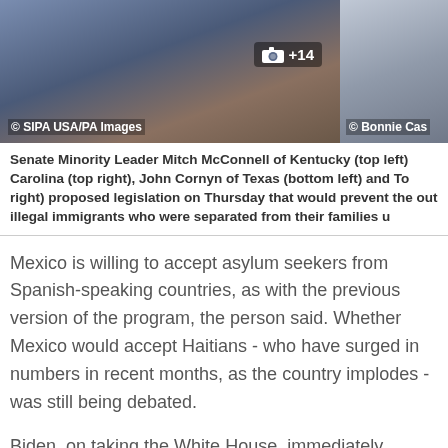[Figure (photo): Two side-by-side news photos: left shows Senator Mitch McConnell with SIPA USA/PA Images credit and a +14 camera badge overlay; right shows partial image with Bonnie Cas credit]
Senate Minority Leader Mitch McConnell of Kentucky (top left) Carolina (top right), John Cornyn of Texas (bottom left) and To right) proposed legislation on Thursday that would prevent the out illegal immigrants who were separated from their families u
Mexico is willing to accept asylum seekers from Spanish-speaking countries, as with the previous version of the program, the person said. Whether Mexico would accept Haitians - who have surged in numbers in recent months, as the country implodes - was still being debated.
Biden, on taking the White House, immediately ended the Migrant Protection Protocols (MPP), as the policy is formally known.